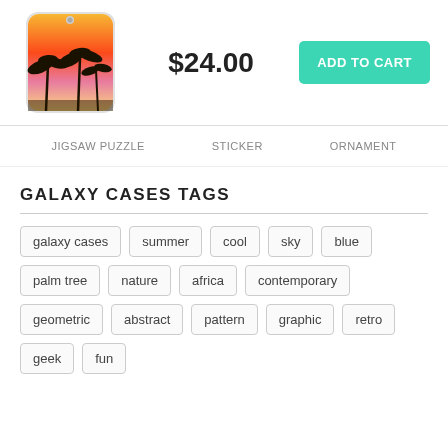[Figure (photo): Sunset beach with palm trees on a smartphone galaxy case product image]
$24.00
ADD TO CART
JIGSAW PUZZLE
STICKER
ORNAMENT
GALAXY CASES TAGS
galaxy cases
summer
cool
sky
blue
palm tree
nature
africa
contemporary
geometric
abstract
pattern
graphic
retro
geek
fun